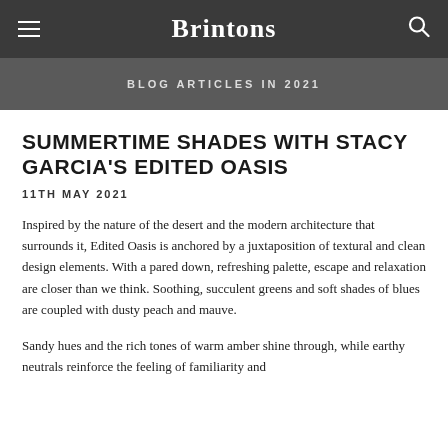Brintons
BLOG ARTICLES IN 2021
SUMMERTIME SHADES WITH STACY GARCIA'S EDITED OASIS
11TH MAY 2021
Inspired by the nature of the desert and the modern architecture that surrounds it, Edited Oasis is anchored by a juxtaposition of textural and clean design elements. With a pared down, refreshing palette, escape and relaxation are closer than we think. Soothing, succulent greens and soft shades of blues are coupled with dusty peach and mauve.
Sandy hues and the rich tones of warm amber shine through, while earthy neutrals reinforce the feeling of familiarity and